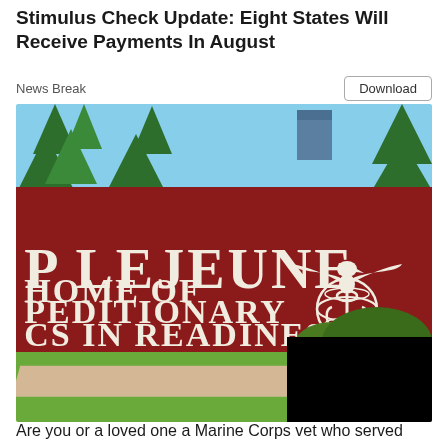Stimulus Check Update: Eight States Will Receive Payments In August
News Break
Download
[Figure (illustration): Illustrated Camp Lejeune entrance sign on a red background reading 'P LEJEUNE / HOME OF / PEDITIONARY / CS IN READINESS' with USMC Eagle Globe and Anchor emblem, surrounded by cartoon trees and green bushes. A black redaction box covers bottom-right portion.]
Are you or a loved one a Marine Corps vet who served